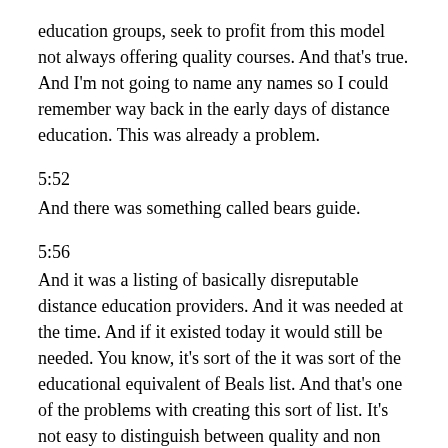education groups, seek to profit from this model not always offering quality courses. And that's true. And I'm not going to name any names so I could remember way back in the early days of distance education. This was already a problem.
5:52
And there was something called bears guide.
5:56
And it was a listing of basically disreputable distance education providers. And it was needed at the time. And if it existed today it would still be needed. You know, it's sort of the it was sort of the educational equivalent of Beals list. And that's one of the problems with creating this sort of list. It's not easy to distinguish between quality and non quality online learning. Traditionally for in class learning we've depended on elearning or not needling we've depended on